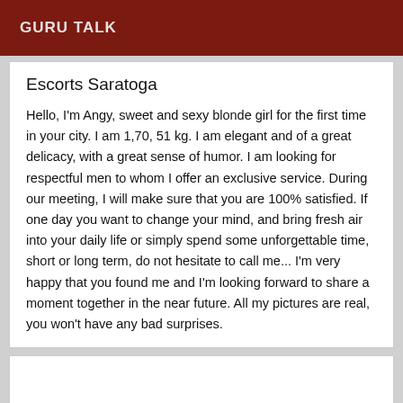GURU TALK
Escorts Saratoga
Hello, I'm Angy, sweet and sexy blonde girl for the first time in your city. I am 1,70, 51 kg. I am elegant and of a great delicacy, with a great sense of humor. I am looking for respectful men to whom I offer an exclusive service. During our meeting, I will make sure that you are 100% satisfied. If one day you want to change your mind, and bring fresh air into your daily life or simply spend some unforgettable time, short or long term, do not hesitate to call me... I'm very happy that you found me and I'm looking forward to share a moment together in the near future. All my pictures are real, you won't have any bad surprises.